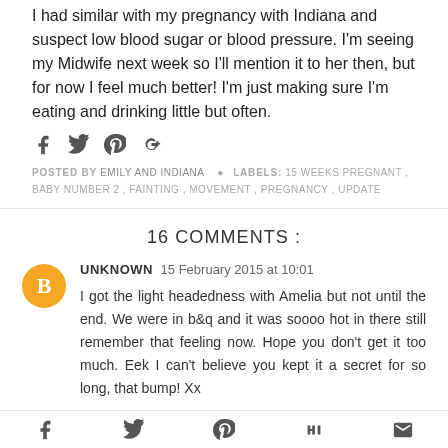I had similar with my pregnancy with Indiana and suspect low blood sugar or blood pressure. I'm seeing my Midwife next week so I'll mention it to her then, but for now I feel much better! I'm just making sure I'm eating and drinking little but often.
[Figure (infographic): Social sharing icons: Facebook, Twitter, Pinterest, Google+]
POSTED BY EMILY AND INDIANA   LABELS: 15 WEEKS PREGNANT , BABY NUMBER 2 , FAINTING , MOVEMENT , PREGNANCY , UPDATE
16 COMMENTS :
[Figure (illustration): Orange circular Blogger avatar icon]
UNKNOWN 15 February 2015 at 10:01
I got the light headedness with Amelia but not until the end. We were in b&q and it was soooo hot in there still remember that feeling now. Hope you don't get it too much. Eek I can't believe you kept it a secret for so long, that bump! Xx
Social sharing footer bar: Facebook, Twitter, Pinterest, Stumbleupon, Email